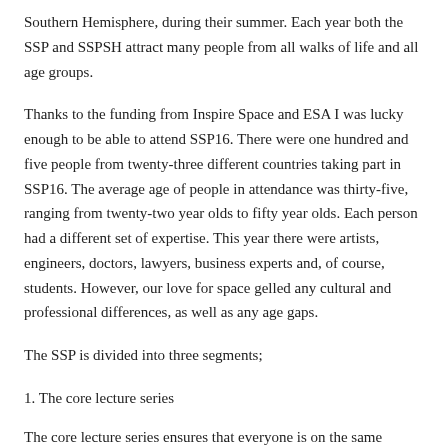Southern Hemisphere, during their summer. Each year both the SSP and SSPSH attract many people from all walks of life and all age groups.
Thanks to the funding from Inspire Space and ESA I was lucky enough to be able to attend SSP16. There were one hundred and five people from twenty-three different countries taking part in SSP16. The average age of people in attendance was thirty-five, ranging from twenty-two year olds to fifty year olds. Each person had a different set of expertise. This year there were artists, engineers, doctors, lawyers, business experts and, of course, students. However, our love for space gelled any cultural and professional differences, as well as any age gaps.
The SSP is divided into three segments;
1. The core lecture series
The core lecture series ensures that everyone is on the same